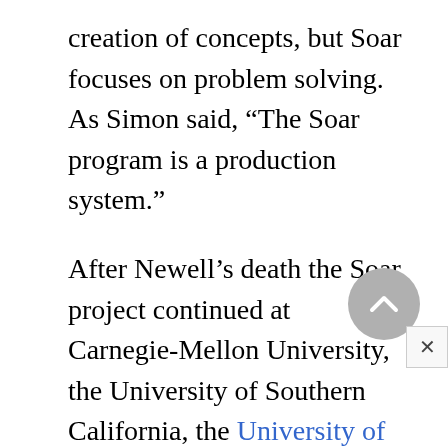creation of concepts, but Soar focuses on problem solving. As Simon said, “The Soar program is a production system.”
After Newell’s death the Soar project continued at Carnegie-Mellon University, the University of Southern California, the University of Michigan, and other centers of research on artificial intelligence. Soar works effectively because of two innovations, “chunking” and the use of a “weak”